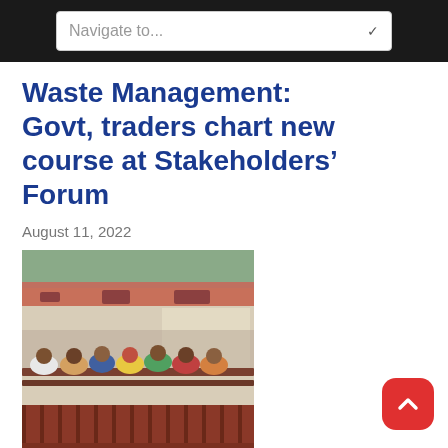Navigate to...
Waste Management: Govt, traders chart new course at Stakeholders’ Forum
August 11, 2022
[Figure (photo): People seated in rows inside a hall during a stakeholders forum event, with a balcony visible in the upper portion of the image.]
The Oyo State Government in partnership with Mottainai